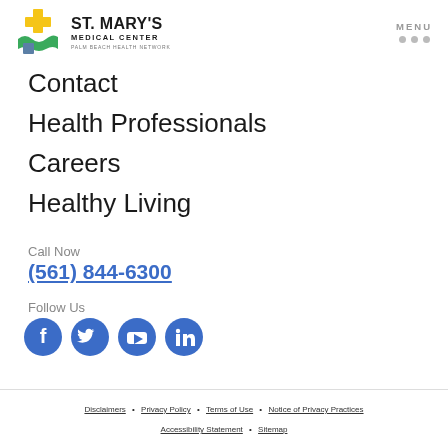ST. MARY'S MEDICAL CENTER PALM BEACH HEALTH NETWORK — MENU
Contact
Health Professionals
Careers
Healthy Living
Call Now
(561) 844-6300
Follow Us
[Figure (infographic): Four social media icons in blue circles: Facebook, Twitter, YouTube, LinkedIn]
Disclaimers • Privacy Policy • Terms of Use • Notice of Privacy Practices • Accessibility Statement • Sitemap